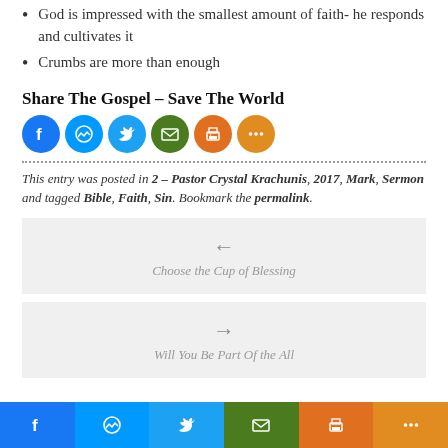God is impressed with the smallest amount of faith- he responds and cultivates it
Crumbs are more than enough
Share The Gospel – Save The World
[Figure (infographic): Social share icons: Facebook, Messenger, Twitter, Email, Print, More]
This entry was posted in 2 – Pastor Crystal Krachunis, 2017, Mark, Sermon and tagged Bible, Faith, Sin. Bookmark the permalink.
[Figure (infographic): Navigation box with left arrow and label: Choose the Cup of Blessing]
[Figure (infographic): Navigation box with right arrow and label: Will You Be Part Of the All]
[Figure (infographic): Bottom bar with social share icons: Facebook (blue), Messenger (light blue), Twitter (blue), Email (green), Print (orange), More (orange)]